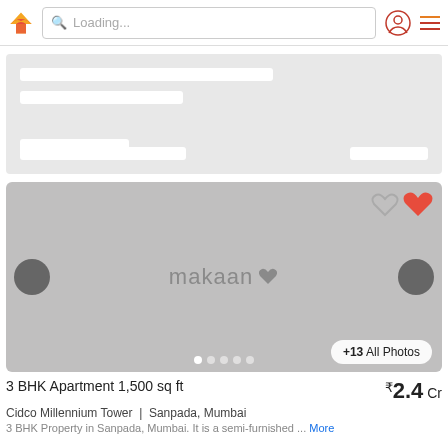Loading...
[Figure (screenshot): Skeleton loading card placeholder with grey background and white placeholder bars]
[Figure (screenshot): Property listing image placeholder showing makaan logo with carousel controls, heart icons, dots navigation, and +13 All Photos button]
3 BHK Apartment 1,500 sq ft
₹2.4 Cr
Cidco Millennium Tower  |  Sanpada, Mumbai
3 BHK Property in Sanpada, Mumbai. It is a semi-furnished ... More